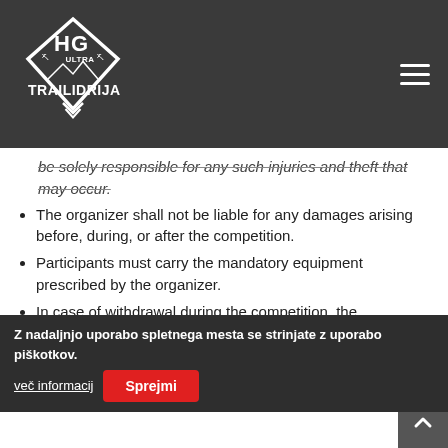HG Ultra Trail Idrija — website header with logo and hamburger menu
be solely responsible for any such injuries and theft that may occur.
The organizer shall not be liable for any damages arising before, during, or after the competition.
Participants must carry the mandatory equipment prescribed by the organizer.
In case of withdrawal during the competition, the participant must immediately notify the organizer at the gsm number indicated on the start number. Suppose the participant does not report his withdrawal from the competition and a search action is activated. In that case, all costs incurred by the participant and his/her responsible withdrawal shall be borne by the himself.
Article 5:
Z nadaljnjo uporabo spletnega mesta se strinjate z uporabo piškotkov. več informacij  [Sprejmi]